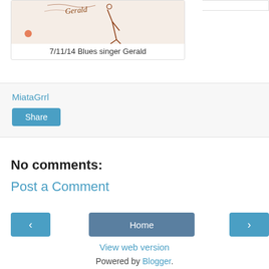[Figure (illustration): Partial sketch/drawing of blues singer Gerald with handwritten text 'Gerald' visible]
7/11/14 Blues singer Gerald
MiataGrrl
Share
No comments:
Post a Comment
‹
Home
›
View web version
Powered by Blogger.